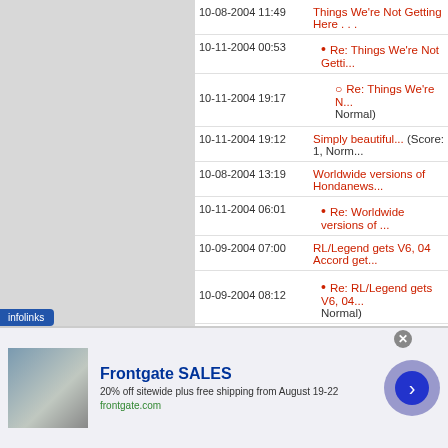10-08-2004 11:49  Things We're Not Getting Here . . .
10-11-2004 00:53  • Re: Things We're Not Getti...
10-11-2004 19:17  ○ Re: Things We're N... Normal)
10-11-2004 19:12  Simply beautiful...  (Score: 1, Norm...
10-08-2004 13:19  Worldwide versions of Hondanews...
10-11-2004 06:01  • Re: Worldwide versions of ...
10-09-2004 07:00  RL/Legend gets V6, 04 Accord get...
10-09-2004 08:12  • Re: RL/Legend gets V6, 04... Normal)
10-09-2004 21:27  ○ Re: RL/Legend ge... (Score: 1, Norma...
10-09-2004 21:49  ▪ Re: RL/Le... (Score: 1...
[Figure (screenshot): Frontgate SALES advertisement banner: 20% off sitewide plus free shipping from August 19-22, frontgate.com]